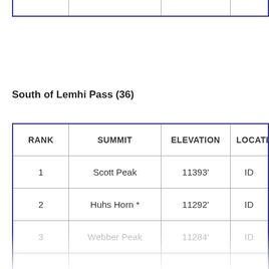| RANK | SUMMIT | ELEVATION | LOCATION |
| --- | --- | --- | --- |
| 1 | Scott Peak | 11393' | ID |
| 2 | Huhs Horn * | 11292' | ID |
| 3 | Webber Peak | 11284' | ID |
South of Lemhi Pass (36)
| RANK | SUMMIT | ELEVATION | LOCATIO |
| --- | --- | --- | --- |
| 1 | Scott Peak | 11393' | ID |
| 2 | Huhs Horn * | 11292' | ID |
| 3 | Webber Peak | 11284' | ID |